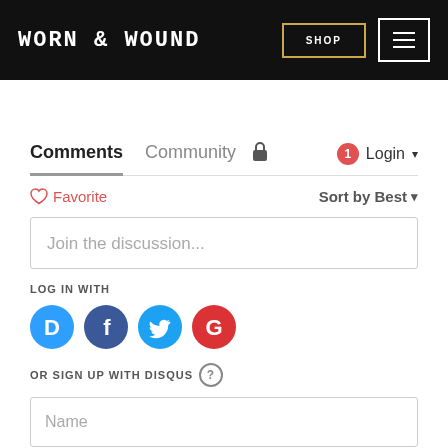WORN & WOUND — SHOP | Menu
Comments  Community  [lock icon]  [1] Login ▼
♡ Favorite    Sort by Best ▼
Join the discussion...
LOG IN WITH
[Figure (infographic): Social login icons: Disqus (blue speech bubble with D), Facebook (dark blue circle with f), Twitter (light blue circle with bird), Google (red circle with G)]
OR SIGN UP WITH DISQUS ?
Name